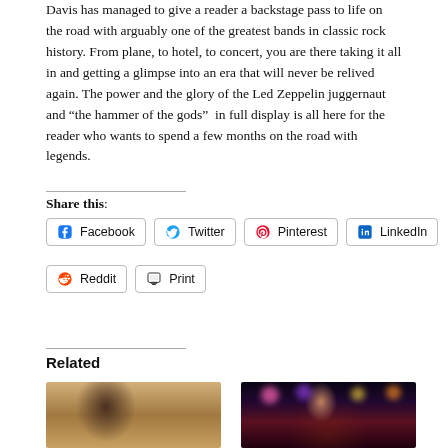Davis has managed to give a reader a backstage pass to life on the road with arguably one of the greatest bands in classic rock history. From plane, to hotel, to concert, you are there taking it all in and getting a glimpse into an era that will never be relived again. The power and the glory of the Led Zeppelin juggernaut and “the hammer of the gods” in full display is all here for the reader who wants to spend a few months on the road with legends.
Share this:
Facebook
Twitter
Pinterest
LinkedIn
Reddit
Print
Related
[Figure (photo): Person playing guitar in a casual indoor setting]
[Figure (photo): Female performer on stage with colorful stage lights]